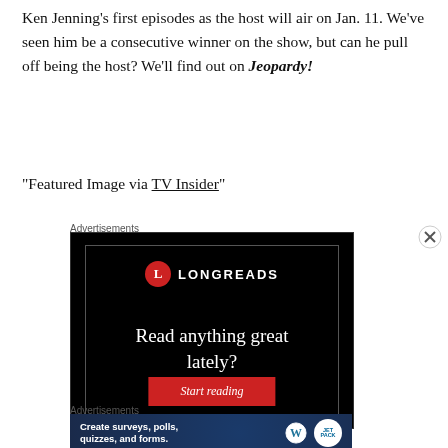Ken Jenning's first episodes as the host will air on Jan. 11. We've seen him be a consecutive winner on the show, but can he pull off being the host? We'll find out on Jeopardy!
"Featured Image via TV Insider"
Advertisements
[Figure (screenshot): Longreads advertisement banner with black background, red circle L logo, text 'Read anything great lately?' and a red 'Start reading' button]
Advertisements
[Figure (screenshot): Dark navy advertisement banner: 'Create surveys, polls, quizzes, and forms.' with WordPress and Jetpack logos]